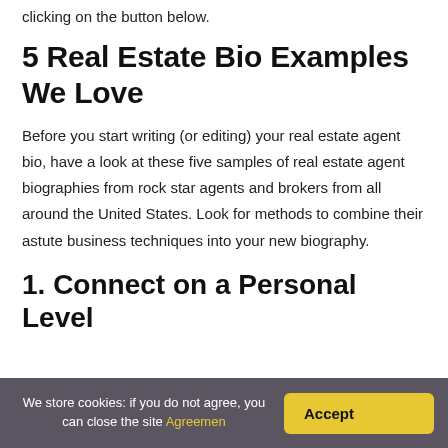clicking on the button below.
5 Real Estate Bio Examples We Love
Before you start writing (or editing) your real estate agent bio, have a look at these five samples of real estate agent biographies from rock star agents and brokers from all around the United States. Look for methods to combine their astute business techniques into your new biography.
1. Connect on a Personal Level
We store cookies: if you do not agree, you can close the site Agreemen
Accept